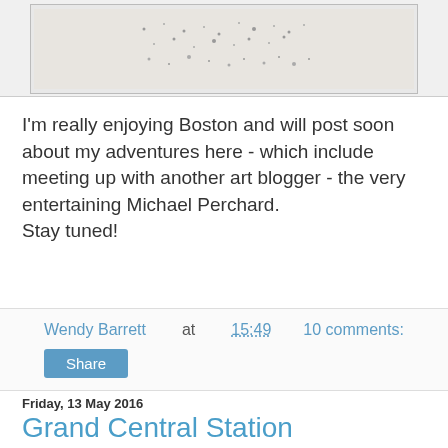[Figure (illustration): Pencil sketch drawing with scattered dots and light marks on grey background, partially visible at top of page]
I'm really enjoying Boston and will post soon about my adventures here - which include meeting up with another art blogger - the very entertaining Michael Perchard. Stay tuned!
Wendy Barrett at 15:49    10 comments:
Share
Friday, 13 May 2016
Grand Central Station
[Figure (illustration): Pencil sketch of Grand Central Station architecture showing arched windows and ornate facade details]